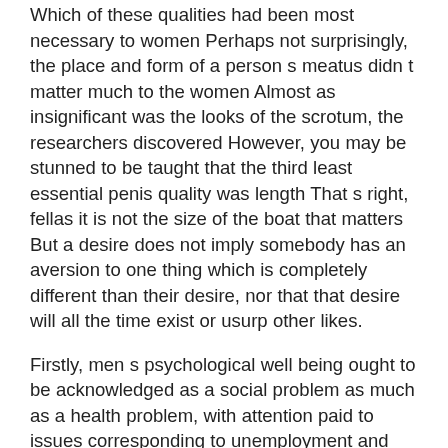Which of these qualities had been most necessary to women Perhaps not surprisingly, the place and form of a person s meatus didn t matter much to the women Almost as insignificant was the looks of the scrotum, the researchers discovered However, you may be stunned to be taught that the third least essential penis quality was length That s right, fellas it is not the size of the boat that matters But a desire does not imply somebody has an aversion to one thing which is completely different than their desire, nor that that desire will all the time exist or usurp other likes.
Firstly, men s psychological well being ought to be acknowledged as a social problem as much as a health problem, with attention paid to issues corresponding to unemployment and familial disruption Secondly, there must be extra selection in the formal mental well being system, with extra male tailored choices that reply to men s unique needs Thirdly, well being departments at the various levels of presidency should create specific methods to Can Females